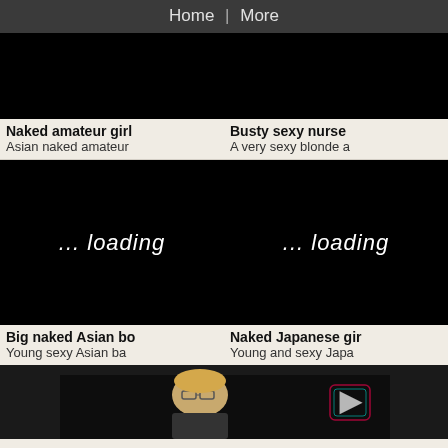Home | More
[Figure (photo): Black thumbnail image (top-left), cropped]
[Figure (photo): Black thumbnail image (top-right), cropped]
Naked amateur girl
Asian naked amateur
Busty sexy nurse
A very sexy blonde a
[Figure (photo): Black image with '... loading' text]
[Figure (photo): Black image with '... loading' text]
Big naked Asian bo
Young sexy Asian ba
Naked Japanese gir
Young and sexy Japa
[Figure (photo): Partially visible photo of a blonde woman with glasses at bottom of page]